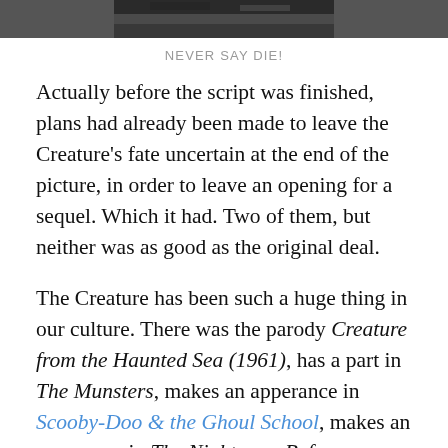[Figure (photo): Black and white photo strip at top of page]
NEVER SAY DIE!
Actually before the script was finished, plans had already been made to leave the Creature's fate uncertain at the end of the picture, in order to leave an opening for a sequel. Which it had. Two of them, but neither was as good as the original deal.
The Creature has been such a huge thing in our culture. There was the parody Creature from the Haunted Sea (1961), has a part in The Munsters, makes an apperance in Scooby-Doo & the Ghoul School, makes an apperance in The Nightmare Before Christmas song “Town Meeting”, Lagoona Blue from Monster High is the daughter of the Creature, Gary Larson did a hilarious comic, and Jenny Clack, from the University of Cambridge, discovered a